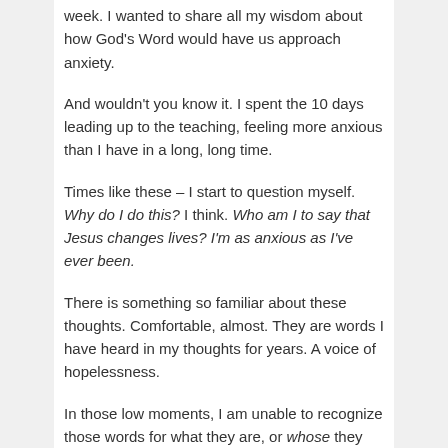week. I wanted to share all my wisdom about how God's Word would have us approach anxiety.
And wouldn't you know it. I spent the 10 days leading up to the teaching, feeling more anxious than I have in a long, long time.
Times like these – I start to question myself. Why do I do this? I think. Who am I to say that Jesus changes lives? I'm as anxious as I've ever been.
There is something so familiar about these thoughts. Comfortable, almost. They are words I have heard in my thoughts for years. A voice of hopelessness.
In those low moments, I am unable to recognize those words for what they are, or whose they are: whispers of Satan.
This morning, I got down on my knees after reading a few psalms and repeated back to God: